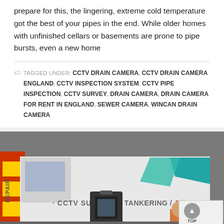prepare for this, the lingering, extreme cold temperature got the best of your pipes in the end. While older homes with unfinished cellars or basements are prone to pipe bursts, even a new home
TAGGED UNDER: CCTV DRAIN CAMERA, CCTV DRAIN CAMERA ENGLAND, CCTV INSPECTION SYSTEM, CCTV PIPE INSPECTION, CCTV SURVEY, DRAIN CAMERA, DRAIN CAMERA FOR RENT IN ENGLAND, SEWER CAMERA, WINCAN DRAIN CAMERA
[Figure (photo): Photo of a white service van with CCTV SURVEYS, TANKERING/JETTING, PUMP-SERV text on the side, a worker in hi-vis standing next to CCTV drain inspection equipment, with a yellow/red striped vehicle visible on the left. A 'TOP' scroll button overlay appears in the bottom right corner.]